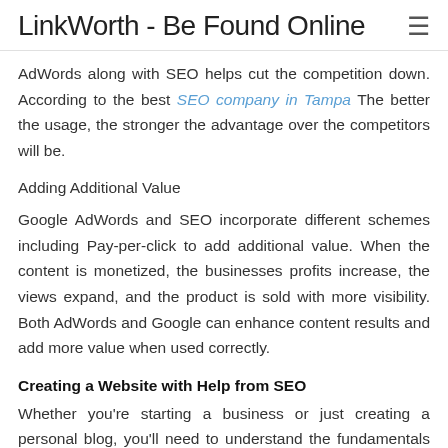LinkWorth - Be Found Online
AdWords along with SEO helps cut the competition down. According to the best SEO company in Tampa The better the usage, the stronger the advantage over the competitors will be.
Adding Additional Value
Google AdWords and SEO incorporate different schemes including Pay-per-click to add additional value. When the content is monetized, the businesses profits increase, the views expand, and the product is sold with more visibility. Both AdWords and Google can enhance content results and add more value when used correctly.
Creating a Website with Help from SEO
Whether you're starting a business or just creating a personal blog, you'll need to understand the fundamentals that are